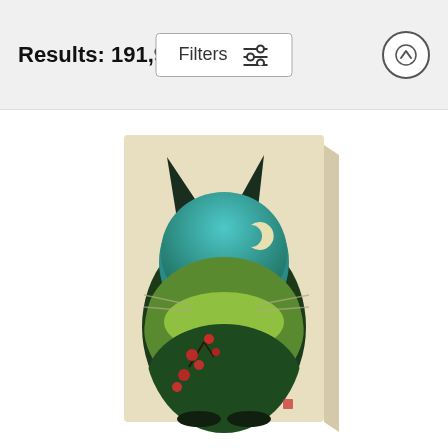Results: 191,954
[Figure (screenshot): Filters button with sliders icon in the top bar]
[Figure (illustration): Canvas print of a Totoro silhouette filled with a nature scene featuring cherry blossoms, mountains, a crescent moon, and red flowers on a beige background, displayed as a 3D canvas with visible side thickness.]